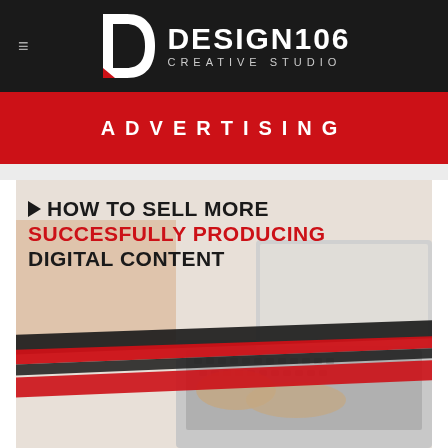[Figure (logo): Design106 Creative Studio logo — white D-speech-bubble icon with text DESIGN106 CREATIVE STUDIO on dark background]
ADVERTISING
[Figure (photo): Person typing on laptop with diagonal red and black graphic overlay stripes]
HOW TO SELL MORE SUCCESFULLY PRODUCING DIGITAL CONTENT